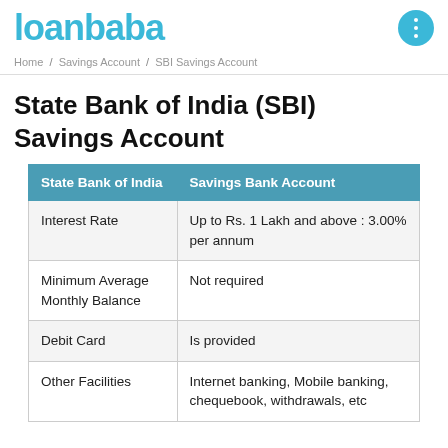loanbaba
Home / Savings Account / SBI Savings Account
State Bank of India (SBI) Savings Account
| State Bank of India | Savings Bank Account |
| --- | --- |
| Interest Rate | Up to Rs. 1 Lakh and above : 3.00% per annum |
| Minimum Average Monthly Balance | Not required |
| Debit Card | Is provided |
| Other Facilities | Internet banking, Mobile banking, chequebook, withdrawals, etc |